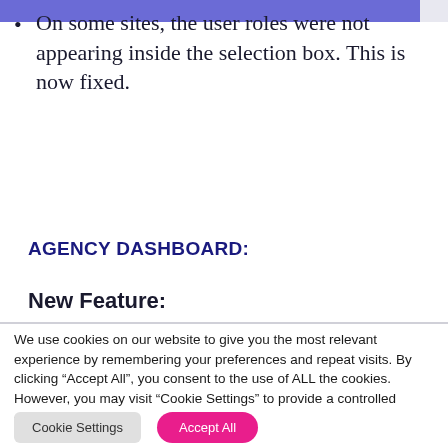On some sites, the user roles were not appearing inside the selection box. This is now fixed.
AGENCY DASHBOARD:
New Feature:
We use cookies on our website to give you the most relevant experience by remembering your preferences and repeat visits. By clicking “Accept All”, you consent to the use of ALL the cookies. However, you may visit “Cookie Settings” to provide a controlled consent.